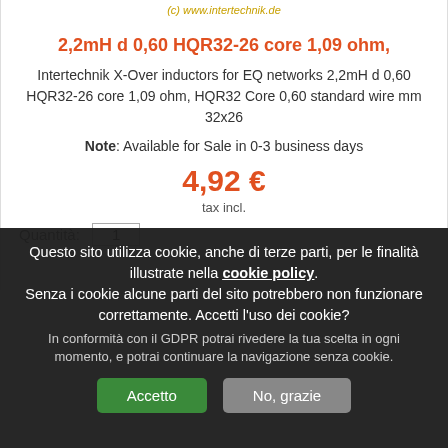(c) www.intertechnik.de
2,2mH d 0,60 HQR32-26 core 1,09 ohm,
Intertechnik X-Over inductors for EQ networks 2,2mH d 0,60 HQR32-26 core 1,09 ohm, HQR32 Core 0,60 standard wire mm 32x26
Note: Available for Sale in 0-3 business days
4,92 €
tax incl.
Quantità: 1
Questo sito utilizza cookie, anche di terze parti, per le finalità illustrate nella cookie policy. Senza i cookie alcune parti del sito potrebbero non funzionare correttamente. Accetti l'uso dei cookie? In conformità con il GDPR potrai rivedere la tua scelta in ogni momento, e potrai continuare la navigazione senza cookie.
Accetto
No, grazie